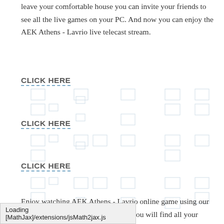leave your comfortable house you can invite your friends to see all the live games on your PC. And now you can enjoy the AEK Athens - Lavrio live telecast stream.
CLICK HERE
CLICK HERE
CLICK HERE
Enjoy watching AEK Athens - Lavrio online game using our online broadcasting. Using this site you will find all your favourite teams and AEK Athens - Lavrio are playing now.
Loading [MathJax]/extensions/jsMath2jax.js